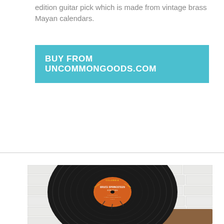edition guitar pick which is made from vintage brass Mayan calendars.
[Figure (other): Teal/cyan button with bold white uppercase text reading 'BUY FROM UNCOMMONGOODS.COM']
[Figure (photo): Photo of a vinyl record speaker mounted on a wooden base against a white brick wall background. The vinyl record has an orange Columbia label with Bruce Springsteen text, and is formed into a cone/horn speaker shape.]